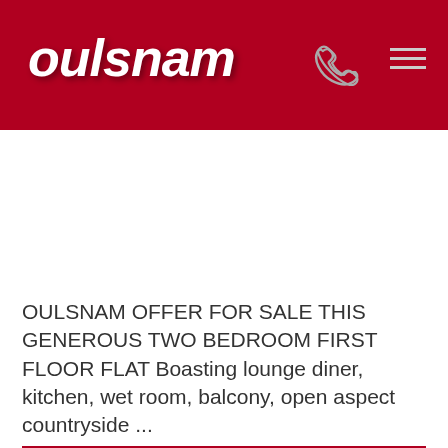oulsnam
[Figure (logo): Oulsnam estate agent logo — white bold italic text on dark red background with phone icon and hamburger menu icon]
OULSNAM OFFER FOR SALE THIS GENEROUS TWO BEDROOM FIRST FLOOR FLAT Boasting lounge diner, kitchen, wet room, balcony, open aspect countryside ...